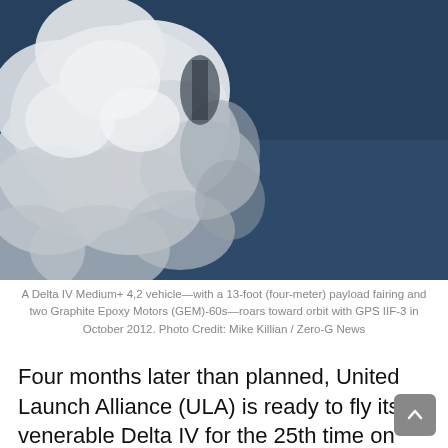[Figure (photo): A Delta IV rocket launch with white exhaust plume against a dark blue sky. The left portion shows the rocket exhaust cloud in white, while the right side shows the dark blue sky background.]
A Delta IV Medium+ 4,2 vehicle—with a 13-foot (four-meter) payload fairing and two Graphite Epoxy Motors (GEM)-60s—roars toward orbit with GPS IIF-3 in October 2012. Photo Credit: Mike Killian / Zero-G News
Four months later than planned, United Launch Alliance (ULA) is ready to fly its venerable Delta IV for the 25th time on Thursday, 20 February, with the scheduled 8:40 p.m. EST liftoff of a key mission to insert the Global Positioning System (GPS) IIF-5